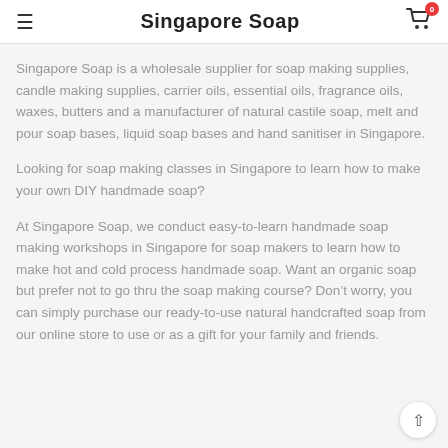Singapore Soap
Singapore Soap is a wholesale supplier for soap making supplies, candle making supplies, carrier oils, essential oils, fragrance oils, waxes, butters and a manufacturer of natural castile soap, melt and pour soap bases, liquid soap bases and hand sanitiser in Singapore.
Looking for soap making classes in Singapore to learn how to make your own DIY handmade soap?
At Singapore Soap, we conduct easy-to-learn handmade soap making workshops in Singapore for soap makers to learn how to make hot and cold process handmade soap. Want an organic soap but prefer not to go thru the soap making course? Don't worry, you can simply purchase our ready-to-use natural handcrafted soap from our online store to use or as a gift for your family and friends.